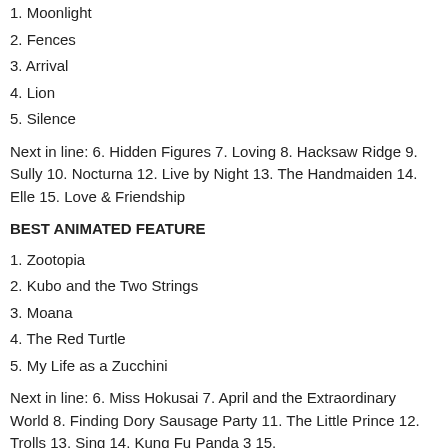1. Moonlight
2. Fences
3. Arrival
4. Lion
5. Silence
Next in line: 6. Hidden Figures 7. Loving 8. Hacksaw Ridge 9. Sully 10. Nocturna 12. Live by Night 13. The Handmaiden 14. Elle 15. Love & Friendship
BEST ANIMATED FEATURE
1. Zootopia
2. Kubo and the Two Strings
3. Moana
4. The Red Turtle
5. My Life as a Zucchini
Next in line: 6. Miss Hokusai 7. April and the Extraordinary World 8. Finding Dory Sausage Party 11. The Little Prince 12. Trolls 13. Sing 14. Kung Fu Panda 3 15.
BEST PRODUCTION DESIGN
1. La La Land
2. Silence
3. Fantastic Beasts and Where to Find Them
4. Rules Don't Apply
5. Jackie